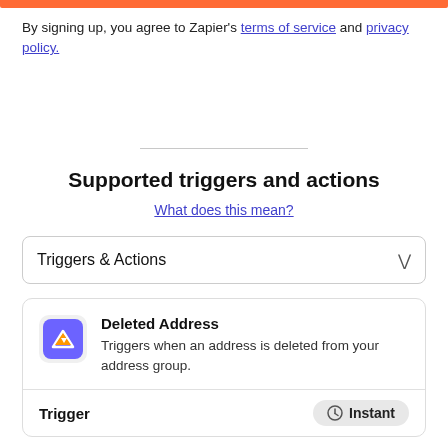[Figure (other): Orange horizontal bar at the top of the page]
By signing up, you agree to Zapier's terms of service and privacy policy.
Supported triggers and actions
What does this mean?
Triggers & Actions
Deleted Address
Triggers when an address is deleted from your address group.
Trigger   Instant